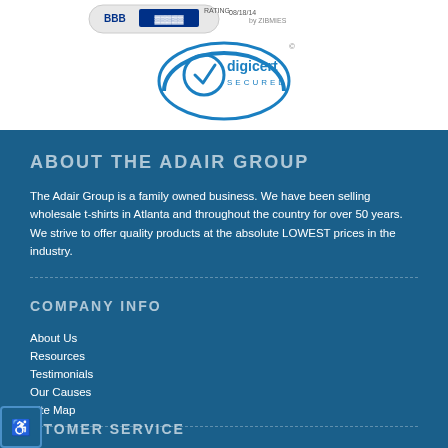[Figure (logo): DigiCert Secured badge and BBB rating badge at top of page]
ABOUT THE ADAIR GROUP
The Adair Group is a family owned business. We have been selling wholesale t-shirts in Atlanta and throughout the country for over 50 years. We strive to offer quality products at the absolute LOWEST prices in the industry.
COMPANY INFO
About Us
Resources
Testimonials
Our Causes
Site Map
CUSTOMER SERVICE